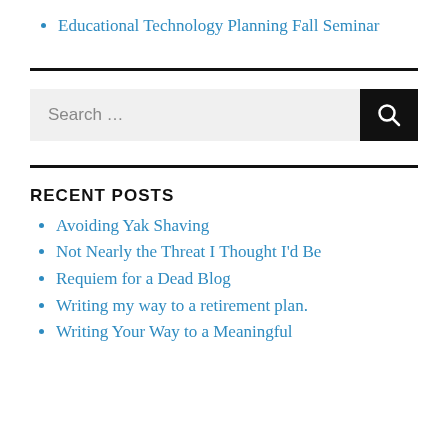Educational Technology Planning Fall Seminar
Avoiding Yak Shaving
Not Nearly the Threat I Thought I'd Be
Requiem for a Dead Blog
Writing my way to a retirement plan.
Writing Your Way to a Meaningful
RECENT POSTS